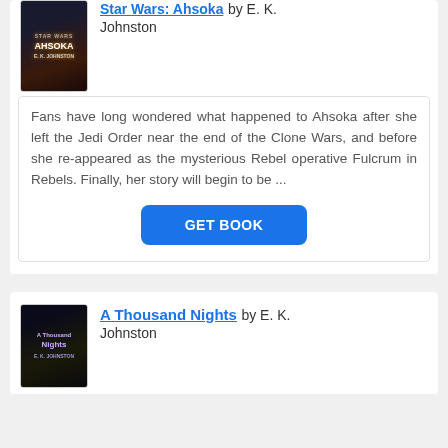Star Wars: Ahsoka by E. K. Johnston
Fans have long wondered what happened to Ahsoka after she left the Jedi Order near the end of the Clone Wars, and before she re-appeared as the mysterious Rebel operative Fulcrum in Rebels. Finally, her story will begin to be ...
GET BOOK
A Thousand Nights by E. K. Johnston